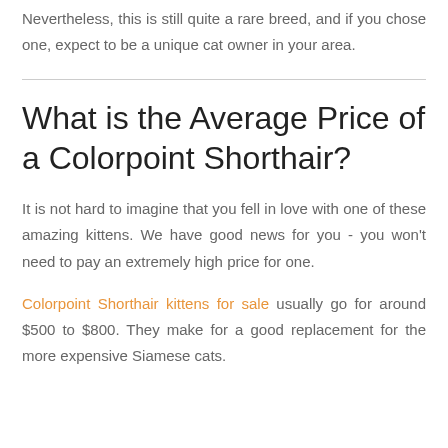Nevertheless, this is still quite a rare breed, and if you chose one, expect to be a unique cat owner in your area.
What is the Average Price of a Colorpoint Shorthair?
It is not hard to imagine that you fell in love with one of these amazing kittens. We have good news for you - you won't need to pay an extremely high price for one.
Colorpoint Shorthair kittens for sale usually go for around $500 to $800. They make for a good replacement for the more expensive Siamese cats.